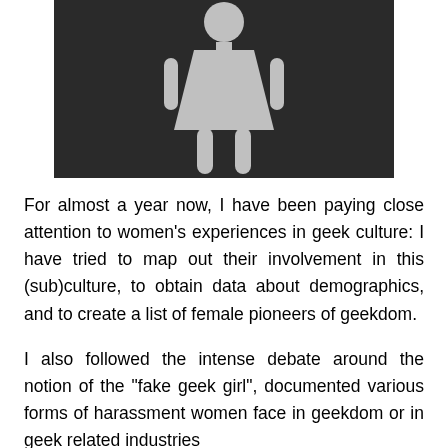[Figure (illustration): A dark/black background image showing a grey pictogram of a female figure (restroom-style icon) centered in the frame.]
For almost a year now, I have been paying close attention to women's experiences in geek culture: I have tried to map out their involvement in this (sub)culture, to obtain data about demographics, and to create a list of female pioneers of geekdom.
I also followed the intense debate around the notion of the "fake geek girl", documented various forms of harassment women face in geekdom or in geek related industries